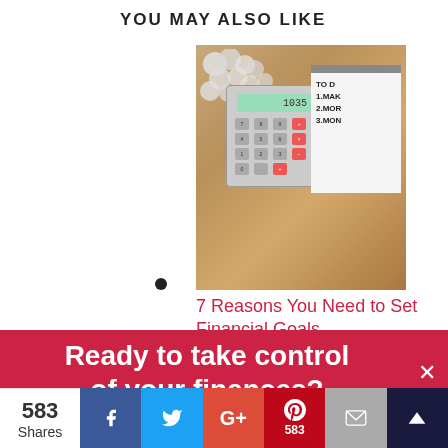YOU MAY ALSO LIKE
[Figure (photo): Calculator and notepad with to-do list on wooden table with coins]
7 Reasons You Need to Set Financial Goals
[Figure (photo): Partial image of coffee cup and pen on paper]
Ready to take control of your finances?
This website uses cookies to improve your experience. We'll assume you're ok with this, but you can opt-out if
583 Shares